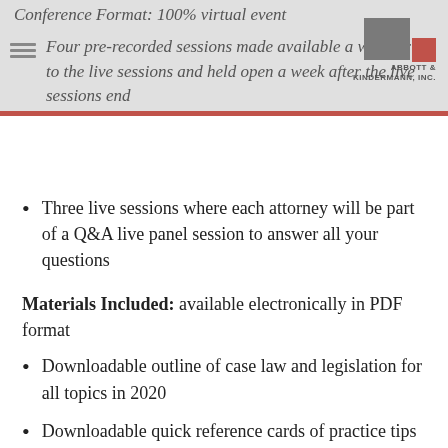Conference Format: 100% virtual event
Four pre-recorded sessions made available a week prior to the live sessions and held open a week after the live sessions end
Three live sessions where each attorney will be part of a Q&A live panel session to answer all your questions
Materials Included: available electronically in PDF format
Downloadable outline of case law and legislation for all topics in 2020
Downloadable quick reference cards of practice tips and case law
Upcoming classes list